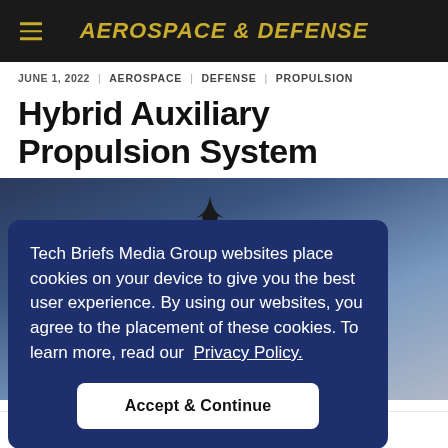AEROSPACE & DEFENSE
JUNE 1, 2022 | AEROSPACE | DEFENSE | PROPULSION
Hybrid Auxiliary Propulsion System
[Figure (photo): Dark blue sky background with aircraft silhouette, partially covered by a cookie consent overlay]
Tech Briefs Media Group websites place cookies on your device to give you the best user experience. By using our websites, you agree to the placement of these cookies. To learn more, read our Privacy Policy.
Accept & Continue